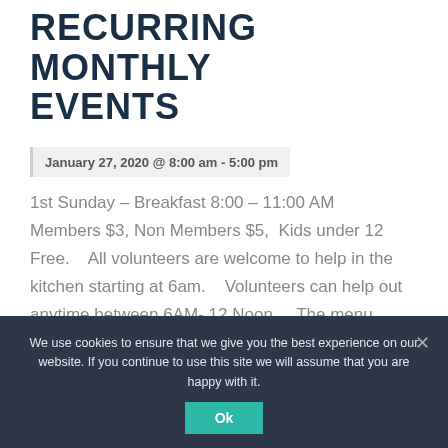RECURRING MONTHLY EVENTS
January 27, 2020 @ 8:00 am - 5:00 pm
1st Sunday – Breakfast 8:00 – 11:00 AM    Members $3, Non Members $5,  Kids under 12 Free.    All volunteers are welcome to help in the kitchen starting at 6am.    Volunteers can help out anytime between 6AM- 12 Noon.    The menu includes bacon, pancakes, scrambled eggs, juice, milk and coffee.
We use cookies to ensure that we give you the best experience on our website. If you continue to use this site we will assume that you are happy with it.